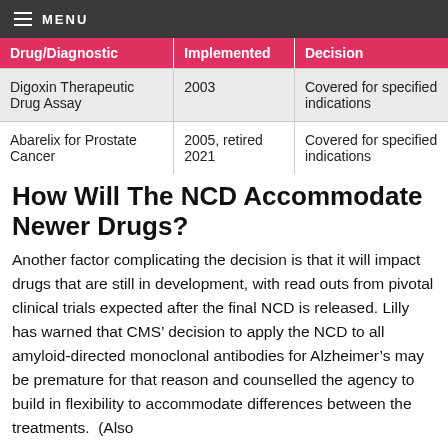MENU
| Drug/Diagnostic | Implemented | Decision |
| --- | --- | --- |
| Digoxin Therapeutic Drug Assay | 2003 | Covered for specified indications |
| Abarelix for Prostate Cancer | 2005, retired 2021 | Covered for specified indications |
How Will The NCD Accommodate Newer Drugs?
Another factor complicating the decision is that it will impact drugs that are still in development, with read outs from pivotal clinical trials expected after the final NCD is released. Lilly has warned that CMS’ decision to apply the NCD to all amyloid-directed monoclonal antibodies for Alzheimer’s may be premature for that reason and counselled the agency to build in flexibility to accommodate differences between the treatments. (Also